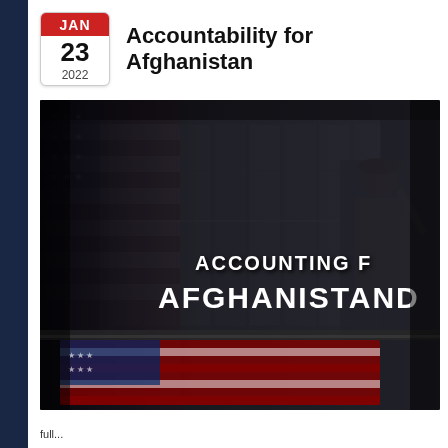Accountability for Afghanistan
JAN 23 2022
[Figure (photo): Military scene showing a soldier saluting in front of cargo aircraft interior with lockers, overlaid with American flag and a flag-draped casket at the bottom. Text overlay reads 'ACCOUNTING F... AFGHANISTAND']
full...